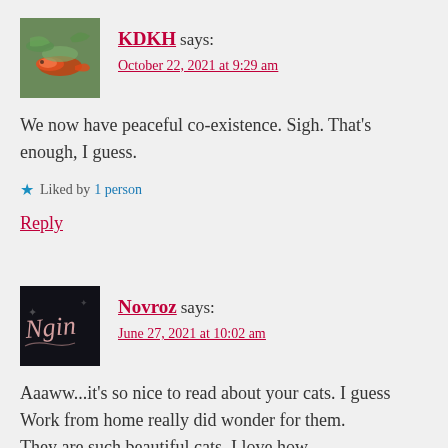[Figure (photo): Avatar image of KDKH showing a koi fish in water]
KDKH says:
October 22, 2021 at 9:29 am
We now have peaceful co-existence. Sigh. That's enough, I guess.
Liked by 1 person
Reply
[Figure (photo): Avatar image of Novroz showing a signature script on dark background]
Novroz says:
June 27, 2021 at 10:02 am
Aaaww...it's so nice to read about your cats. I guess Work from home really did wonder for them. They are such beautiful cats. I love how...